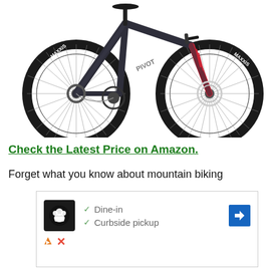[Figure (photo): A dark gray/black Pivot brand mountain bike with Maxxis tires, shown in profile view against a white background. The bike has a carbon frame, front suspension fork with red accents, disc brakes, and a rear derailleur drivetrain.]
Check the Latest Price on Amazon.
Forget what you know about mountain biking
[Figure (other): Advertisement box with a restaurant logo (chef icon on black background), checkmarks next to 'Dine-in' and 'Curbside pickup' text, a blue navigation arrow icon on the right, and ad disclosure icons (triangle and X) at the bottom left.]